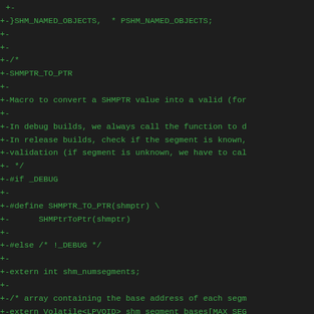+-
+-}SHM_NAMED_OBJECTS, * PSHM_NAMED_OBJECTS;
+-
+-
+-/*
+-SHMPTR_TO_PTR
+-
+-Macro to convert a SHMPTR value into a valid (for
+-
+-In debug builds, we always call the function to d
+-In release builds, check if the segment is known,
+-validation (if segment is unknown, we have to cal
+- */
+-#if _DEBUG
+-
+-#define SHMPTR_TO_PTR(shmptr) \
+-      SHMPtrToPtr(shmptr)
+-
+-#else /* !_DEBUG */
+-
+-extern int shm_numsegments;
+-
+-/* array containing the base address of each segm
+-extern Volatile<LPVOID> shm_segment_bases[MAX_SEG
+-
+-#define SHMPTR_TO_PTR(shmptr)\
+-      ((shmptr)?((static_cast<int>(shmptr)>>24)<sh
+-      reinterpret_cast<LPVOID>(reinterpret_cast<siz
+-      SHMPtrToPtr(shmptr)): static_cast<LPVOID>(NUL
+-